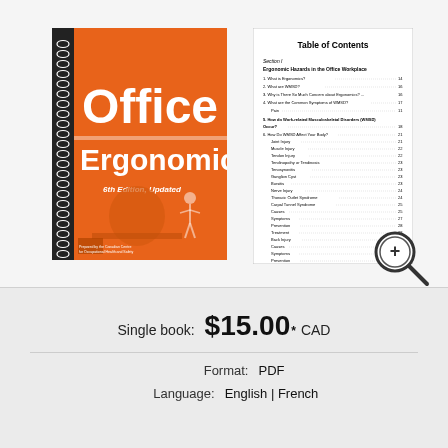[Figure (illustration): Orange book cover titled 'Office Ergonomics, 6th Edition, Updated', with spiral binding on left, published by Canadian Centre for Occupational Health and Safety, showing a person typing at a computer]
[Figure (screenshot): Table of Contents page from the Office Ergonomics book showing Section I - Ergonomic Hazards in the Office Workplace with entries for topics like What is Ergonomics, What are WMSD, How do Work-related Musculoskeletal Disorders occur, etc. with page numbers]
Single book:  $15.00 * CAD
Format:  PDF
Language:  English | French